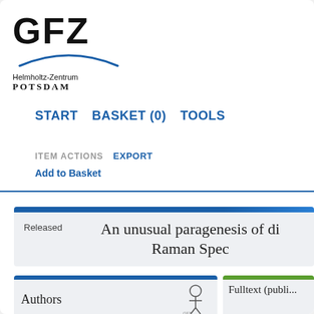[Figure (logo): GFZ Helmholtz-Zentrum Potsdam logo with large bold GFZ text, arc graphic, and institute name]
START   BASKET (0)   TOOLS
ITEM ACTIONS   EXPORT
Add to Basket
An unusual paragenesis of di... Raman Spec...
Released
Authors
Fulltext (publi...